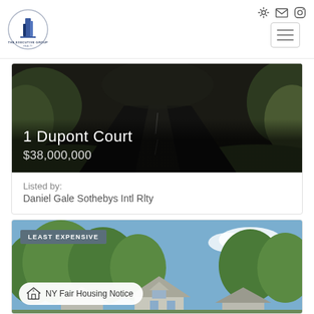[Figure (logo): The Executive Group Realty logo — stylized building with blue accent]
[Figure (photo): Dark aerial view of a long private driveway leading through trees — property listing hero photo]
1 Dupont Court
$38,000,000
Listed by:
Daniel Gale Sothebys Intl Rlty
[Figure (photo): Aerial/rooftop view of residential homes surrounded by trees under blue sky, with LEAST EXPENSIVE badge and NY Fair Housing Notice overlay]